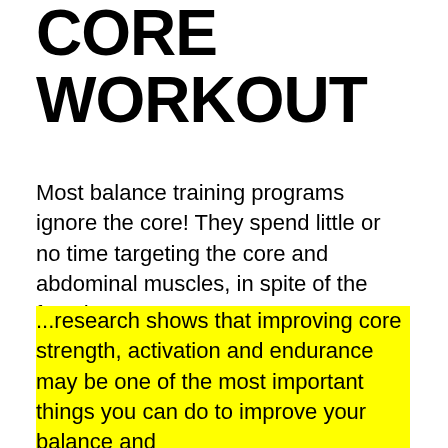CORE WORKOUT
Most balance training programs ignore the core! They spend little or no time targeting the core and abdominal muscles, in spite of the fact that...
...research shows that improving core strength, activation and endurance may be one of the most important things you can do to improve your balance and